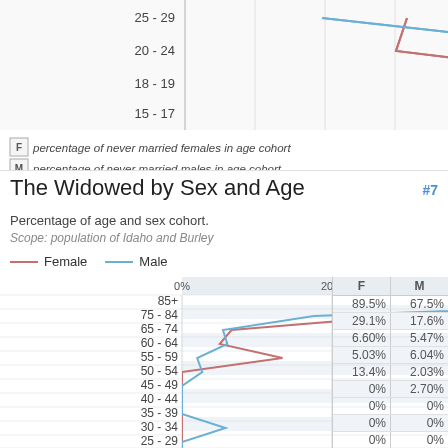[Figure (line-chart): Top portion of a line chart showing percentage of never married females and males by age cohort. Age groups shown: 15-17, 18-19, 20-24, 25-29. Values on right: 36.5%/23.7%, 35.6%/73.7%, 82.8%/94.3%, 100%/100%]
F  percentage of never married females in age cohort
M  percentage of never married males in age cohort
The Widowed by Sex and Age
#7
Percentage of age and sex cohort.
Scope: population of Idaho and Burley
[Figure (line-chart): The Widowed by Sex and Age]